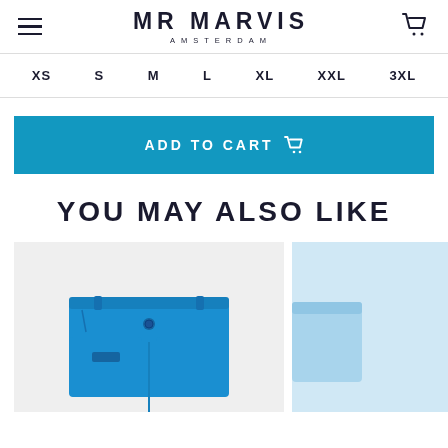MR MARVIS AMSTERDAM
XS  S  M  L  XL  XXL  3XL
ADD TO CART
YOU MAY ALSO LIKE
[Figure (photo): Blue shorts product photo on light grey background]
[Figure (photo): Partial product photo with light blue item on right side, partially cropped]